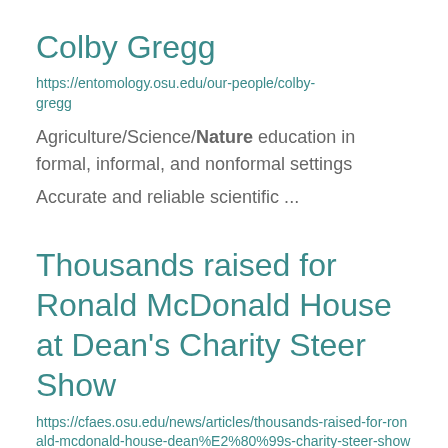Colby Gregg
https://entomology.osu.edu/our-people/colby-gregg
Agriculture/Science/Nature education in formal, informal, and nonformal settings
Accurate and reliable scientific ...
Thousands raised for Ronald McDonald House at Dean's Charity Steer Show
https://cfaes.osu.edu/news/articles/thousands-raised-for-ronald-mcdonald-house-dean%E2%80%99s-charity-steer-show
news director at Columbus Radio Group,